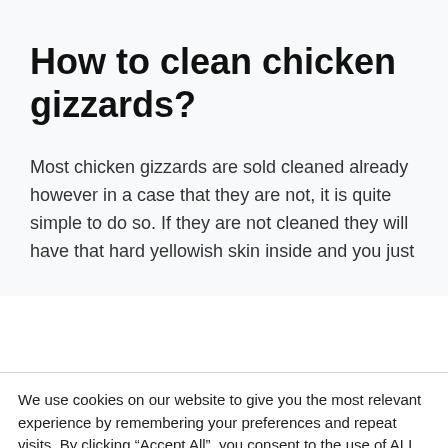How to clean chicken gizzards?
Most chicken gizzards are sold cleaned already however in a case that they are not, it is quite simple to do so. If they are not cleaned they will have that hard yellowish skin inside and you just
We use cookies on our website to give you the most relevant experience by remembering your preferences and repeat visits. By clicking “Accept All”, you consent to the use of ALL the cookies. However, you may visit “Cookie Settings” to